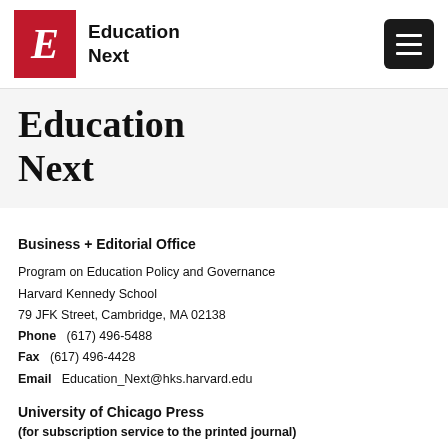Education Next
Education Next
Business + Editorial Office
Program on Education Policy and Governance
Harvard Kennedy School
79 JFK Street, Cambridge, MA 02138
Phone   (617) 496-5488
Fax   (617) 496-4428
Email  Education_Next@hks.harvard.edu
University of Chicago Press
(for subscription service to the printed journal)